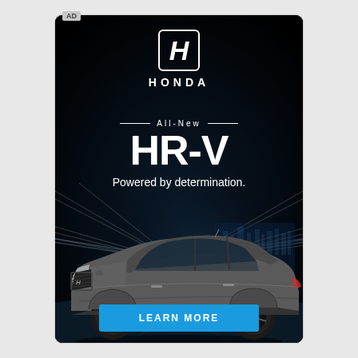[Figure (advertisement): Honda HR-V advertisement. Black background with speed lines. Honda logo (H badge) at top center. Text: All-New HR-V Powered by determination. Grey Honda HR-V SUV shown driving. Blue LEARN MORE button at bottom.]
AD
HONDA
All-New
HR-V
Powered by determination.
LEARN MORE